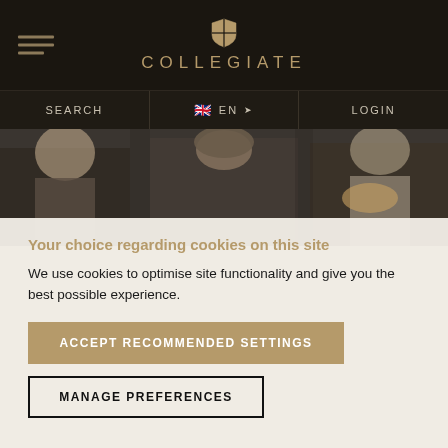COLLEGIATE
[Figure (screenshot): Website navigation bar with hamburger menu, Collegiate shield logo and text, search, language selector (EN), and login buttons, over a dark background. Below is a hero photo of three students sitting together, one wearing a knit hat, holding food/drinks.]
Your choice regarding cookies on this site
We use cookies to optimise site functionality and give you the best possible experience.
ACCEPT RECOMMENDED SETTINGS
MANAGE PREFERENCES